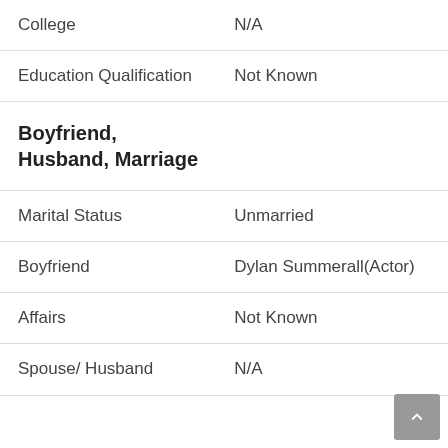| College | N/A |
| Education Qualification | Not Known |
| Boyfriend, Husband, Marriage |  |
| Marital Status | Unmarried |
| Boyfriend | Dylan Summerall(Actor) |
| Affairs | Not Known |
| Spouse/ Husband | N/A |